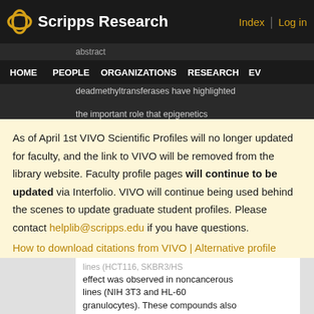Scripps Research — Index | Log in
Abstract — The recent approvals of anticancer therapeutic agents targeting the dead... methyltransferases have highlighted the important role that epigenetics...
HOME  PEOPLE  ORGANIZATIONS  RESEARCH  EV
As of April 1st VIVO Scientific Profiles will no longer updated for faculty, and the link to VIVO will be removed from the library website. Faculty profile pages will continue to be updated via Interfolio. VIVO will continue being used behind the scenes to update graduate student profiles. Please contact helplib@scripps.edu if you have questions.
How to download citations from VIVO | Alternative profile options
lines (HCT116, SKBR3/HS effect was observed in noncancerous lines (NIH 3T3 and HL-60 granulocytes). These compounds also induced the differentiation of HL-60 and HT29 cells. Finally, these compounds synergistically potentiated